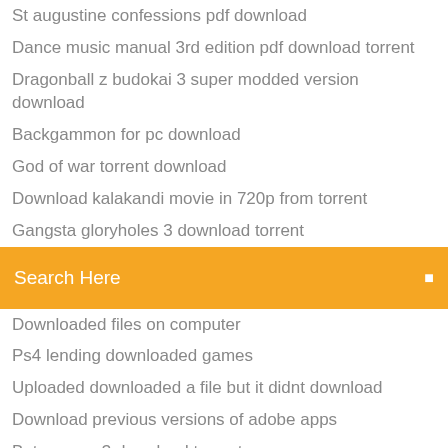St augustine confessions pdf download
Dance music manual 3rd edition pdf download torrent
Dragonball z budokai 3 super modded version download
Backgammon for pc download
God of war torrent download
Download kalakandi movie in 720p from torrent
Gangsta gloryholes 3 download torrent
[Figure (screenshot): Orange search bar with text 'Search Here' and a search icon on the right]
Downloaded files on computer
Ps4 lending downloaded games
Uploaded downloaded a file but it didnt download
Download previous versions of adobe apps
Bot season 3 download torrent
Injustice ultimate edition pc download
Snapchat 1.3 apk download minecraft pc
Download witcher 3 polish version
Free javascript book for beginers download pdf
Ruz dungeons and dragons download pdf